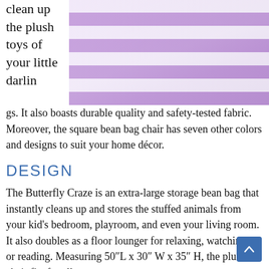clean up the plush toys of your little darlings.
[Figure (photo): Child lying on a large purple and white striped bean bag pillow/lounger, reading a book]
gs. It also boasts durable quality and safety-tested fabric. Moreover, the square bean bag chair has seven other colors and designs to suit your home décor.
DESIGN
The Butterfly Craze is an extra-large storage bean bag that instantly cleans up and stores the stuffed animals from your kid's bedroom, playroom, and even your living room. It also doubles as a floor lounger for relaxing, watching t or reading. Measuring 50″L x 30″ W x 35″ H, the plush chair fits for all ages.